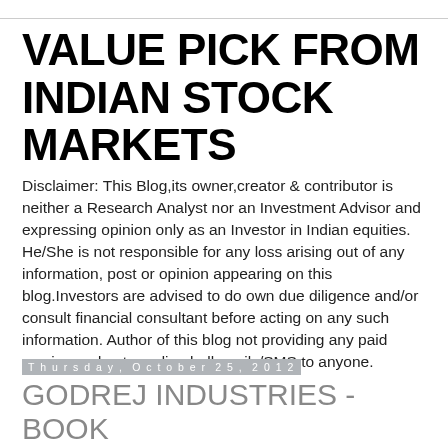VALUE PICK FROM INDIAN STOCK MARKETS
Disclaimer: This Blog,its owner,creator & contributor is neither a Research Analyst nor an Investment Advisor and expressing opinion only as an Investor in Indian equities. He/She is not responsible for any loss arising out of any information, post or opinion appearing on this blog.Investors are advised to do own due diligence and/or consult financial consultant before acting on any such information. Author of this blog not providing any paid service and not sending bulk mails/SMS to anyone.
Thursday, October 25, 2012
GODREJ INDUSTRIES - BOOK PARTIAL PROFIT